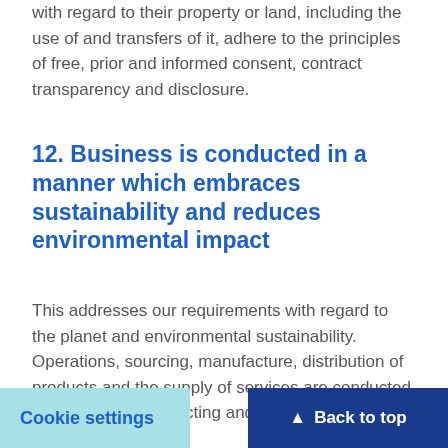with regard to their property or land, including the use of and transfers of it, adhere to the principles of free, prior and informed consent, contract transparency and disclosure.
12. Business is conducted in a manner which embraces sustainability and reduces environmental impact
This addresses our requirements with regard to the planet and environmental sustainability. Operations, sourcing, manufacture, distribution of products and the supply of services are conducted with the aim of protecting and preserving the environment.
Cookie settings   Back to top